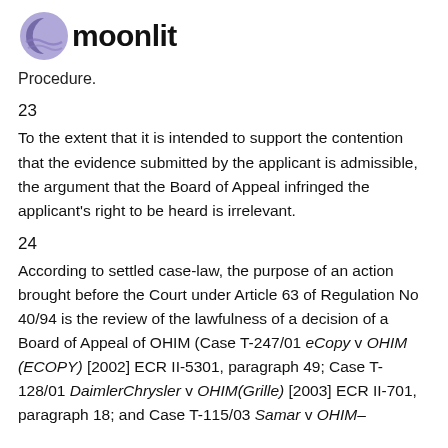moonlit
Procedure.
23
To the extent that it is intended to support the contention that the evidence submitted by the applicant is admissible, the argument that the Board of Appeal infringed the applicant’s right to be heard is irrelevant.
24
According to settled case-law, the purpose of an action brought before the Court under Article 63 of Regulation No 40/94 is the review of the lawfulness of a decision of a Board of Appeal of OHIM (Case T-247/01 eCopy v OHIM (ECOPY) [2002] ECR II-5301, paragraph 49; Case T-128/01 DaimlerChrysler v OHIM(Grille) [2003] ECR II-701, paragraph 18; and Case T-115/03 Samar v OHIM–